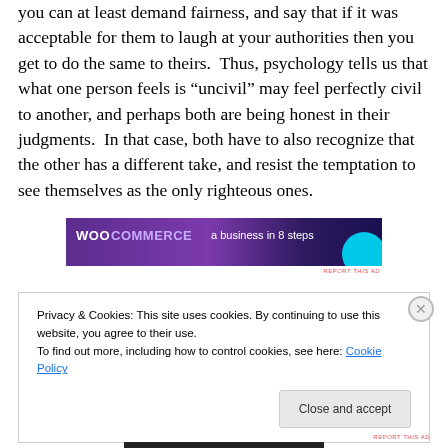you can at least demand fairness, and say that if it was acceptable for them to laugh at your authorities then you get to do the same to theirs. Thus, psychology tells us that what one person feels is “uncivil” may feel perfectly civil to another, and perhaps both are being honest in their judgments. In that case, both have to also recognize that the other has a different take, and resist the temptation to see themselves as the only righteous ones.
[Figure (other): WooCommerce advertisement banner: purple/dark background with WooCommerce logo and text 'a business in 8 steps']
REPORT THIS AD
Privacy & Cookies: This site uses cookies. By continuing to use this website, you agree to their use.
To find out more, including how to control cookies, see here: Cookie Policy